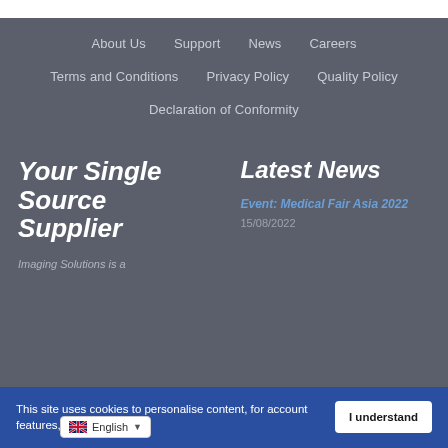About Us
Support
News
Careers
Terms and Conditions
Privacy Policy
Quality Policy
Declaration of Conformity
Your Single Source Supplier
Imaging Solutions is a
Latest News
Event: Medical Fair Asia 2022
15/08/2022
This site uses cookies to personalise content, for account features, and to an...
English